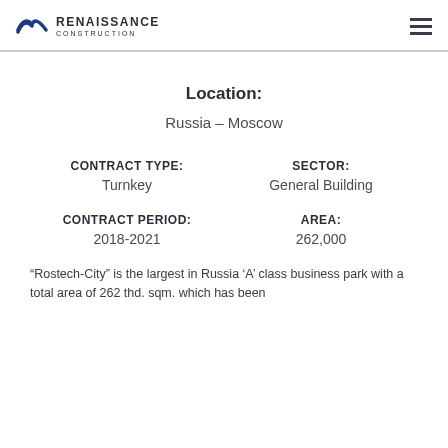RENAISSANCE CONSTRUCTION
Location:
Russia – Moscow
CONTRACT TYPE:
Turnkey
SECTOR:
General Building
CONTRACT PERIOD:
2018-2021
AREA:
262,000
“Rostech-City” is the largest in Russia ‘A’ class business park with a total area of 262 thd. sqm. which has been